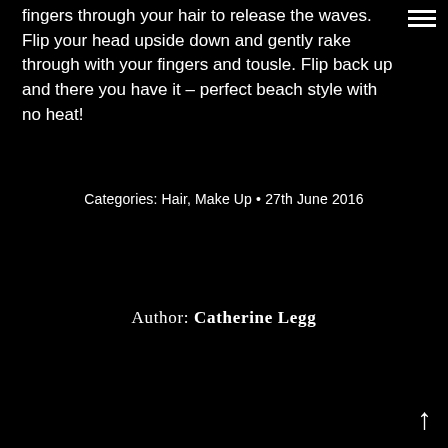fingers through your hair to release the waves. Flip your head upside down and gently rake through with your fingers and tousle. Flip back up and there you have it – perfect beach style with no heat!
≡
Categories: Hair, Make Up • 27th June 2016
Author: Catherine Legg